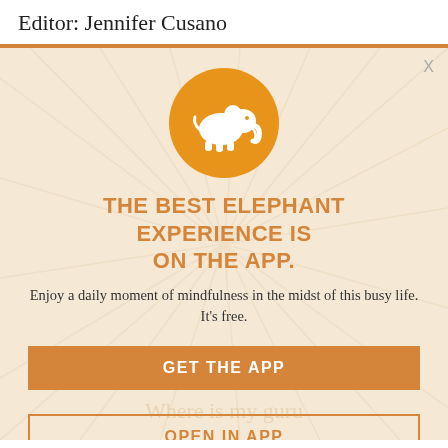Editor: Jennifer Cusano
[Figure (logo): Orange circle with white elephant silhouette logo]
THE BEST ELEPHANT EXPERIENCE IS ON THE APP.
Enjoy a daily moment of mindfulness in the midst of this busy life. It's free.
GET THE APP
OPEN IN APP